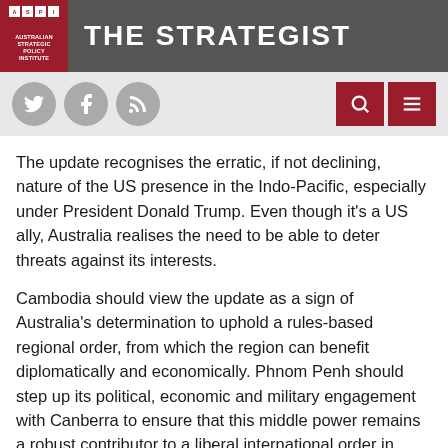THE STRATEGIST
The update recognises the erratic, if not declining, nature of the US presence in the Indo-Pacific, especially under President Donald Trump. Even though it's a US ally, Australia realises the need to be able to deter threats against its interests.
Cambodia should view the update as a sign of Australia's determination to uphold a rules-based regional order, from which the region can benefit diplomatically and economically. Phnom Penh should step up its political, economic and military engagement with Canberra to ensure that this middle power remains a robust contributor to a liberal international order in Asia.
This does not necessarily mean that Cambodia should side with Australia and its US ally against China. As a small state,